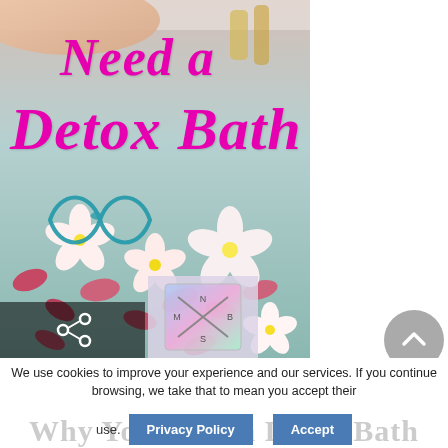[Figure (photo): Photo of a bath filled with water and floating pink and white tropical flowers (plumeria), with essential oil bottles visible in the upper right. A teal infinity-wave logo is overlaid on the flowers. Large magenta italic bold text reads 'Need a' and 'Detox Bath' over the image. A share icon box appears in the lower left. A small holographic logo watermark appears in the lower center.]
We use cookies to improve your experience and our services. If you continue browsing, we take that to mean you accept their use.
Why You Need a Detox Bath
Privacy Policy
Accept